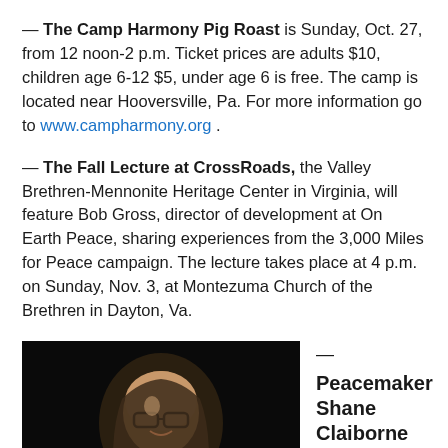— The Camp Harmony Pig Roast is Sunday, Oct. 27, from 12 noon-2 p.m. Ticket prices are adults $10, children age 6-12 $5, under age 6 is free. The camp is located near Hooversville, Pa. For more information go to www.campharmony.org .
— The Fall Lecture at CrossRoads, the Valley Brethren-Mennonite Heritage Center in Virginia, will feature Bob Gross, director of development at On Earth Peace, sharing experiences from the 3,000 Miles for Peace campaign. The lecture takes place at 4 p.m. on Sunday, Nov. 3, at Montezuma Church of the Brethren in Dayton, Va.
[Figure (photo): A man with long hair and glasses speaking into a microphone against a dark background.]
— Peacemaker Shane Claiborne will speak at